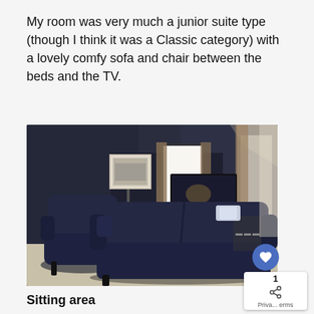My room was very much a junior suite type (though I think it was a Classic category) with a lovely comfy sofa and chair between the beds and the TV.
[Figure (photo): Interior photo of a hotel room sitting area with dark navy blue walls. A large dark navy sofa is in the foreground, with a matching armchair to the left. In the background is a flat-screen TV on a wooden cabinet/dresser, a floor lamp with a green shade, a framed picture on the wall, and curtains near a window/doorway letting in light.]
Sitting area